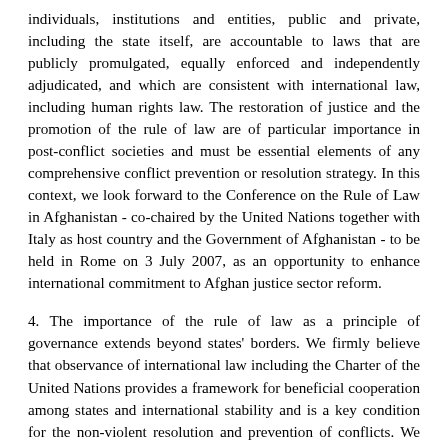individuals, institutions and entities, public and private, including the state itself, are accountable to laws that are publicly promulgated, equally enforced and independently adjudicated, and which are consistent with international law, including human rights law. The restoration of justice and the promotion of the rule of law are of particular importance in post-conflict societies and must be essential elements of any comprehensive conflict prevention or resolution strategy. In this context, we look forward to the Conference on the Rule of Law in Afghanistan - co-chaired by the United Nations together with Italy as host country and the Government of Afghanistan - to be held in Rome on 3 July 2007, as an opportunity to enhance international commitment to Afghan justice sector reform.
4. The importance of the rule of law as a principle of governance extends beyond states' borders. We firmly believe that observance of international law including the Charter of the United Nations provides a framework for beneficial cooperation among states and international stability and is a key condition for the non-violent resolution and prevention of conflicts. We reaffirm the need for universal adherence to and implementation of the rule of law and international law, which together with the principle of justice is essential for peaceful coexistence and cooperation among states. We call upon states to consider acceding to and implementing international instruments that advance our common interests in